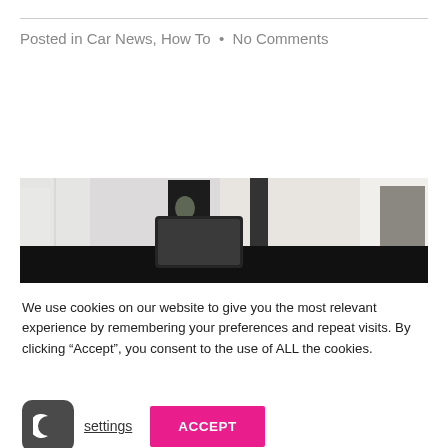Posted in Car News, How To  •  No Comments
[Figure (photo): Office desk scene with monitor, speaker, and white furniture in a modern room setting]
We use cookies on our website to give you the most relevant experience by remembering your preferences and repeat visits. By clicking “Accept”, you consent to the use of ALL the cookies.